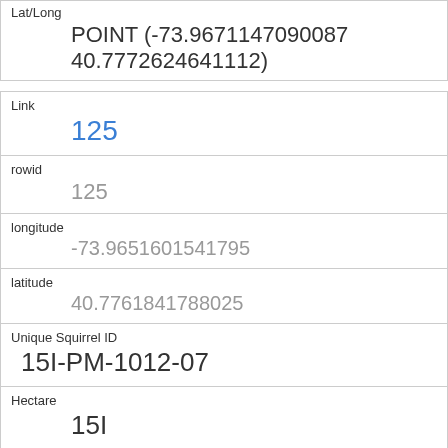| Field | Value |
| --- | --- |
| Lat/Long | POINT (-73.9671147090087 40.7772624641112) |
| Link | 125 |
| rowid | 125 |
| longitude | -73.9651601541795 |
| latitude | 40.7761841788025 |
| Unique Squirrel ID | 15I-PM-1012-07 |
| Hectare | 15I |
| Shift | PM |
| Date | 10122018 |
| Hectare Squirrel Number | 7 |